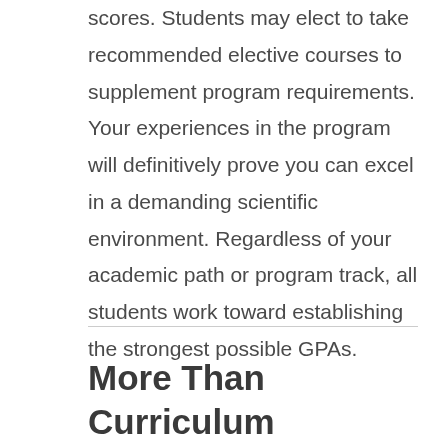scores. Students may elect to take recommended elective courses to supplement program requirements. Your experiences in the program will definitively prove you can excel in a demanding scientific environment. Regardless of your academic path or program track, all students work toward establishing the strongest possible GPAs.
More Than Curriculum